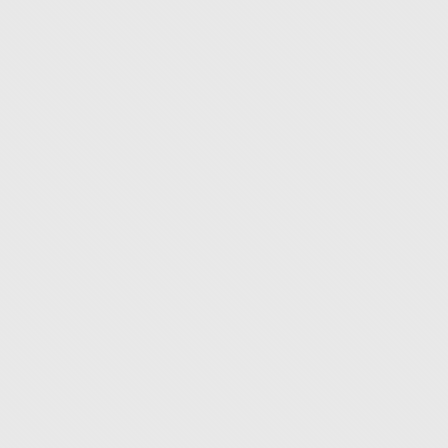| Vessel Name | Flag |
| --- | --- |
| XIN SHI JI 112 | Chi... |
| XIN SHI JI 111 | Chi... |
| XIN RUI | Kirib... |
| XIANG FA 8 | Chi... |
| XARACUU | New Cale... |
| WOOJIN CHEMI | Mar... Isla... |
| WINSTAR 2 | Fiji |